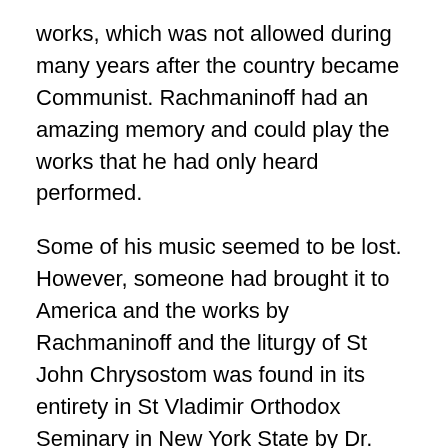works, which was not allowed during many years after the country became Communist. Rachmaninoff had an amazing memory and could play the works that he had only heard performed.
Some of his music seemed to be lost. However, someone had brought it to America and the works by Rachmaninoff and the liturgy of St John Chrysostom was found in its entirety in St Vladimir Orthodox Seminary in New York State by Dr. Anthony Antolini. In the Library of Congress, Antolini found the old, micro film of the conductor's score, which gave him the ability to put all parts of the music together.
Rachmaninoff 's music was also banned during the reign of Lenin and Stalin, while there was great persecution of the Orthodox Church. Yet, sacred music and great music,